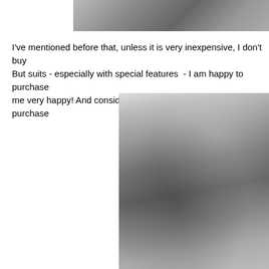[Figure (photo): Black and white photo cropped at top showing upper body of person in houndstooth suit, partially visible]
I've mentioned before that, unless it is very inexpensive, I don't buy But suits - especially with special features  - I am happy to purchase me very happy! And considering that it was such a hurried purchase
[Figure (photo): Black and white photograph of a woman in a vintage 1940s houndstooth suit jacket with buttons and brooch, standing near trees, wearing pearl necklace and hat, looking downward]